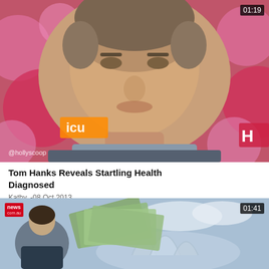[Figure (screenshot): Video thumbnail showing Tom Hanks at what appears to be a Nickelodeon event, with pink bokeh background and hollyscoop watermark, duration badge 01:19 in top-right corner]
Tom Hanks Reveals Startling Health Diagnosed
Kathy, -08 Oct 2013
[Figure (screenshot): Video thumbnail showing a news segment with money/banknotes and Sydney Opera House in background, news logo in top-left, duration badge 01:41 in top-right]